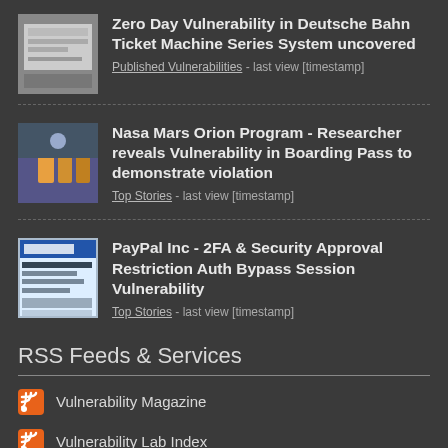Zero Day Vulnerability in Deutsche Bahn Ticket Machine Series System uncovered
Published Vulnerabilities - last view [timestamp]
Nasa Mars Orion Program - Researcher reveals Vulnerability in Boarding Pass to demonstrate violation
Top Stories - last view [timestamp]
PayPal Inc - 2FA & Security Approval Restriction Auth Bypass Session Vulnerability
Top Stories - last view [timestamp]
RSS Feeds & Services
Vulnerability Magazine
Vulnerability Lab Index